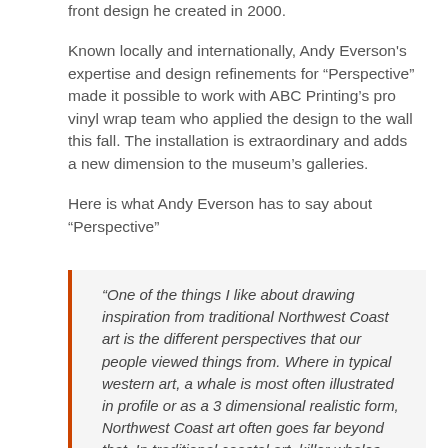front design he created in 2000.
Known locally and internationally, Andy Everson's expertise and design refinements for “Perspective” made it possible to work with ABC Printing’s pro vinyl wrap team who applied the design to the wall this fall. The installation is extraordinary and adds a new dimension to the museum’s galleries.
Here is what Andy Everson has to say about “Perspective”
“One of the things I like about drawing inspiration from traditional Northwest Coast art is the different perspectives that our people viewed things from. Where in typical western art, a whale is most often illustrated in profile or as a 3 dimensional realistic form, Northwest Coast art often goes far beyond that. In traditional coastal art, killer whales can be viewed from the side while simultaneously viewed head-on. At the same time, we often get a look at